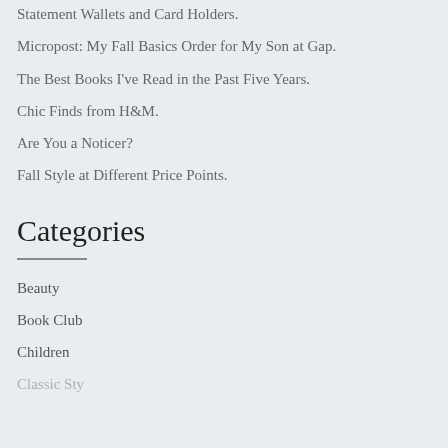Statement Wallets and Card Holders.
Micropost: My Fall Basics Order for My Son at Gap.
The Best Books I've Read in the Past Five Years.
Chic Finds from H&M.
Are You a Noticer?
Fall Style at Different Price Points.
Categories
Beauty
Book Club
Children
Classic Style